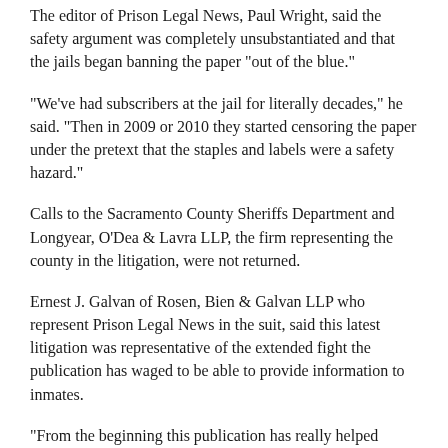The editor of Prison Legal News, Paul Wright, said the safety argument was completely unsubstantiated and that the jails began banning the paper "out of the blue."
"We've had subscribers at the jail for literally decades," he said. "Then in 2009 or 2010 they started censoring the paper under the pretext that the staples and labels were a safety hazard."
Calls to the Sacramento County Sheriffs Department and Longyear, O'Dea & Lavra LLP, the firm representing the county in the litigation, were not returned.
Ernest J. Galvan of Rosen, Bien & Galvan LLP who represent Prison Legal News in the suit, said this latest litigation was representative of the extended fight the publication has waged to be able to provide information to inmates.
"From the beginning this publication has really helped establish that jails and prisons are not walled off from the First Amendment," he said. "The staples and labels argument is the latest in a long line of excuses."
Prison Legal News provides commentary on current events in the prison and jail community and takes a detailed look at the rights of inmates.